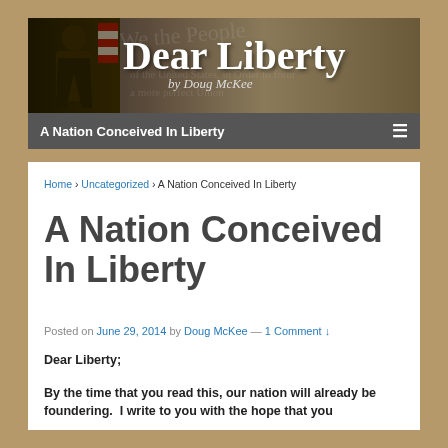[Figure (photo): Blog header banner showing a man speaking at a podium with an American flag in the background, overlaid with 'Dear Liberty by Doug McKee' text on a parchment-style background]
A Nation Conceived In Liberty
Home › Uncategorized › A Nation Conceived In Liberty
A Nation Conceived In Liberty
Posted on June 29, 2014 by Doug McKee — 1 Comment ↓
Dear Liberty;
By the time that you read this, our nation will already be foundering. I write to you with the hope that you